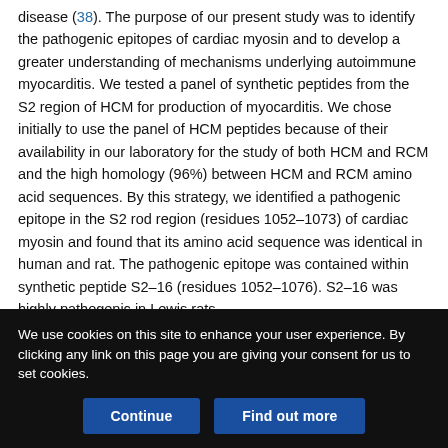disease (38). The purpose of our present study was to identify the pathogenic epitopes of cardiac myosin and to develop a greater understanding of mechanisms underlying autoimmune myocarditis. We tested a panel of synthetic peptides from the S2 region of HCM for production of myocarditis. We chose initially to use the panel of HCM peptides because of their availability in our laboratory for the study of both HCM and RCM and the high homology (96%) between HCM and RCM amino acid sequences. By this strategy, we identified a pathogenic epitope in the S2 rod region (residues 1052–1073) of cardiac myosin and found that its amino acid sequence was identical in human and rat. The pathogenic epitope was contained within synthetic peptide S2–16 (residues 1052–1076). S2–16 was highly pathogenic in Lewis rats,
We use cookies on this site to enhance your user experience. By clicking any link on this page you are giving your consent for us to set cookies.